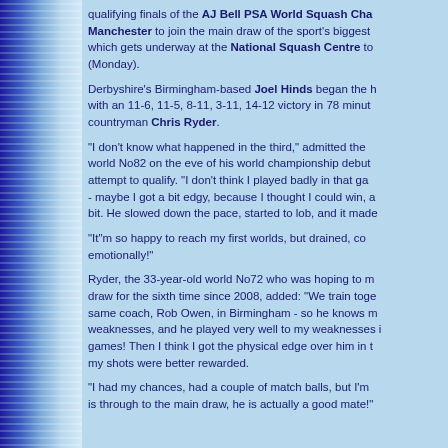qualifying finals of the AJ Bell PSA World Squash Championship in Manchester to join the main draw of the sport's biggest event, which gets underway at the National Squash Centre tomorrow (Monday).
Derbyshire's Birmingham-based Joel Hinds began the headlines with an 11-6, 11-5, 8-11, 3-11, 14-12 victory in 78 minutes over countryman Chris Ryder.
"I don't know what happened in the third," admitted the world No82 on the eve of his world championship debut attempt to qualify. "I don't think I played badly in that game - maybe I got a bit edgy, because I thought I could win, a bit. He slowed down the pace, started to lob, and it made
"It"m so happy to reach my first worlds, but drained, comfortably emotionally!"
Ryder, the 33-year-old world No72 who was hoping to make the draw for the sixth time since 2008, added: "We train together, same coach, Rob Owen, in Birmingham - so he knows my weaknesses, and he played very well to my weaknesses in those games! Then I think I got the physical edge over him in the last, my shots were better rewarded.
"I had my chances, had a couple of match balls, but I'm happy he is through to the main draw, he is actually a good mate!"